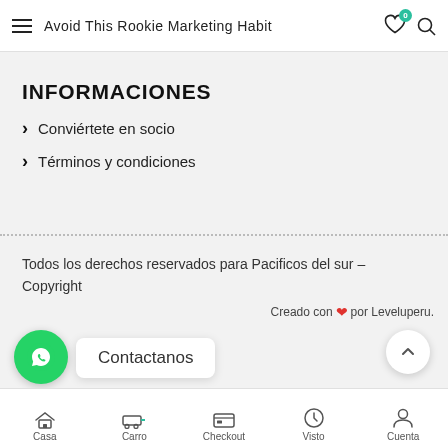Avoid This Rookie Marketing Habit
INFORMACIONES
Conviértete en socio
Términos y condiciones
Todos los derechos reservados para Pacificos del sur – Copyright
Creado con ❤ por Leveluperu.
Contactanos
Casa    Carro    Checkout    Visto    Cuenta